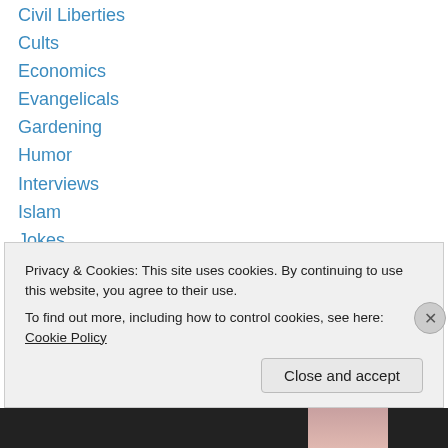Civil Liberties
Cults
Economics
Evangelicals
Gardening
Humor
Interviews
Islam
Jokes
Journalism
Language Use
Libertarianism
Livin’ in the USA
Mormonism
Privacy & Cookies: This site uses cookies. By continuing to use this website, you agree to their use.
To find out more, including how to control cookies, see here: Cookie Policy